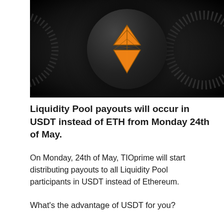[Figure (illustration): Dark circular cryptocurrency coin with an orange glowing geometric diamond/kite logo (TIOx token) on a dark background with a dotted ring element to the right]
Liquidity Pool payouts will occur in USDT instead of ETH from Monday 24th of May.
On Monday, 24th of May, TIOprime will start distributing payouts to all Liquidity Pool participants in USDT instead of Ethereum.
What's the advantage of USDT for you?